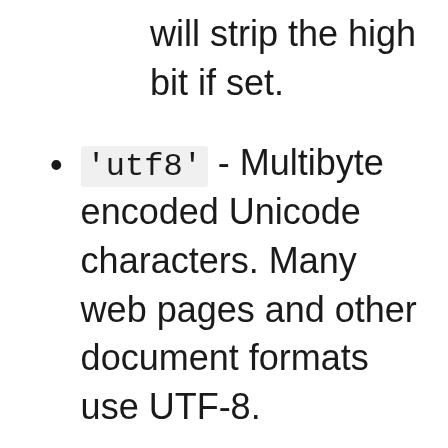will strip the high bit if set.
'utf8' - Multibyte encoded Unicode characters. Many web pages and other document formats use UTF-8.